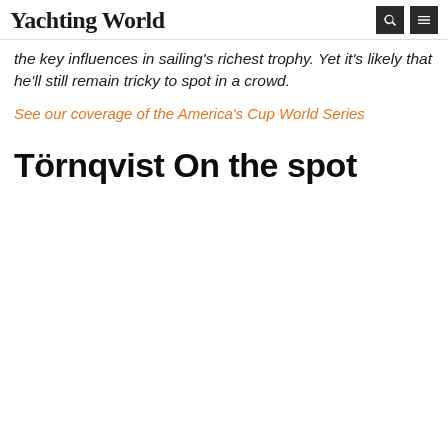Yachting World
the key influences in sailing's richest trophy. Yet it's likely that he'll still remain tricky to spot in a crowd.
See our coverage of the America's Cup World Series
Törnqvist On the spot